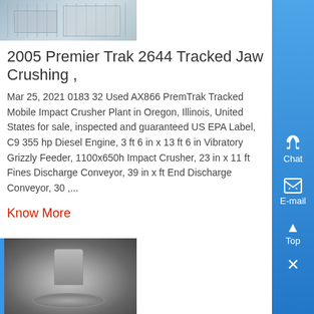[Figure (photo): Photograph of industrial jaw crusher machinery, partially visible at top of page]
2005 Premier Trak 2644 Tracked Jaw Crushing ,
Mar 25, 2021 0183 32 Used AX866 PremTrak Tracked Mobile Impact Crusher Plant in Oregon, Illinois, United States for sale, inspected and guaranteed US EPA Label, C9 355 hp Diesel Engine, 3 ft 6 in x 13 ft 6 in Vibratory Grizzly Feeder, 1100x650h Impact Crusher, 23 in x 11 ft Fines Discharge Conveyor, 39 in x ft End Discharge Conveyor, 30 ,...
Know More
[Figure (photo): Close-up photograph of a cone crusher or mill grinding mechanism showing circular grinding surfaces]